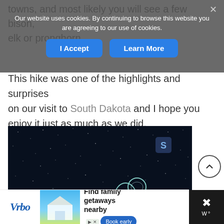towns, and most likely you will see a few bison, elk or pronghorn.
Our website uses cookies. By continuing to browse this website you are agreeing to our use of cookies.
This hike was one of the highlights and surprises on our visit to South Dakota and I hope you enjoy it just as much as we did.
[Figure (illustration): An astronaut floating in space against a dark starry background, outlined in white/teal sketch style, skateboarding. A stylized 'S' logo appears in the upper right area of the image.]
Find family getaways nearby — Vrbo advertisement with Book early button